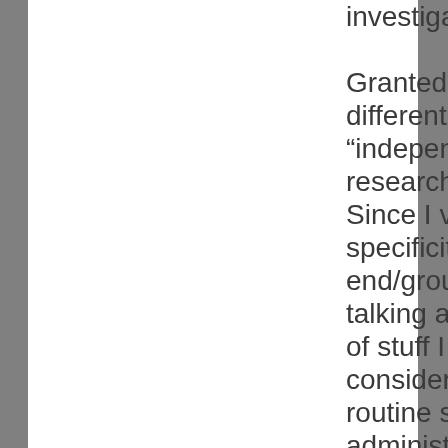investigator. Granted, we may have different ideas of what "independent security research" entails. Since I value specificity, on the low-end/ground-level I'm talking about the kind of stuff I would consider a matter of routine server administration – E.g. reporting spam EMails via Spamcop, checking on brute-force login